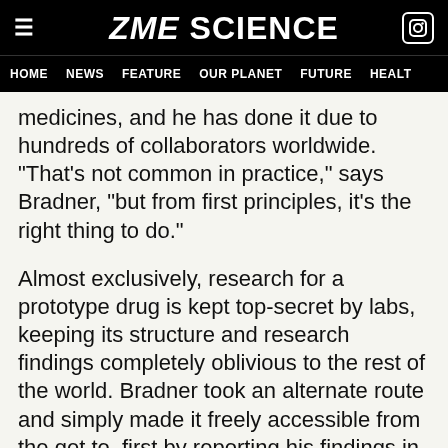ZME SCIENCE
HOME  NEWS  FEATURE  OUR PLANET  FUTURE  HEALT
medicines, and he has done it due to hundreds of collaborators worldwide. “That’s not common in practice,” says Bradner, “but from first principles, it’s the right thing to do.”
Almost exclusively, research for a prototype drug is kept top-secret by labs, keeping its structure and research findings completely oblivious to the rest of the world. Bradner took an alternate route and simply made it freely accessible from the get to, first by reporting his findings in a paper, then by sending samples to just about any lab interest (you too can ask the good doctor for a sample – you just need to e-mail). Results